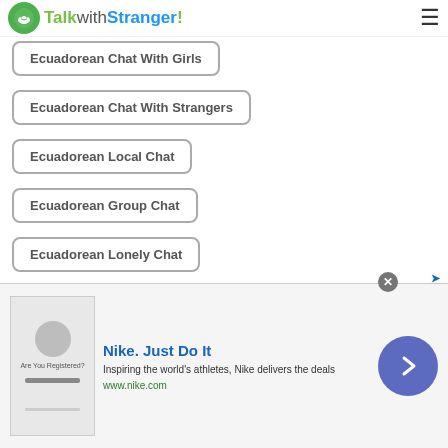TalkwithStranger!
Ecuadorean Chat With Girls
Ecuadorean Chat With Strangers
Ecuadorean Local Chat
Ecuadorean Group Chat
Ecuadorean Lonely Chat
Ecuadorean True Love Chatroom
Ecuadorean No Login Chatroom
Ecuadorean Flirt Chat
Ecuadorean Girl Talk
[Figure (screenshot): Nike advertisement banner showing logo image, 'Nike. Just Do It' headline, tagline 'Inspiring the world's athletes, Nike delivers the deals', and url www.nike.com]